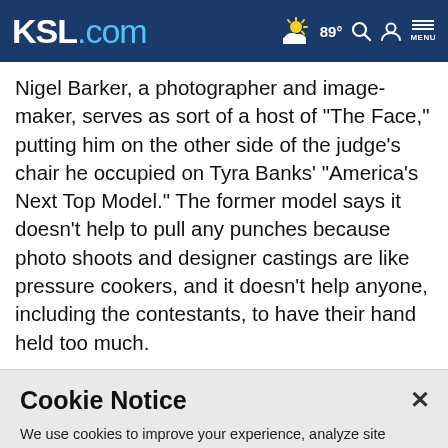KSL.com 89° [weather icon] [search icon] [user icon] MENU
Nigel Barker, a photographer and image-maker, serves as sort of a host of "The Face," putting him on the other side of the judge's chair he occupied on Tyra Banks' "America's Next Top Model." The former model says it doesn't help to pull any punches because photo shoots and designer castings are like pressure cookers, and it doesn't help anyone, including the contestants, to have their hand held too much.
Cookie Notice
We use cookies to improve your experience, analyze site traffic, and to personalize content and ads. By continuing to use our site, you consent to our use of cookies. Please visit our Terms of Use and Privacy Policy for more information.
Continue